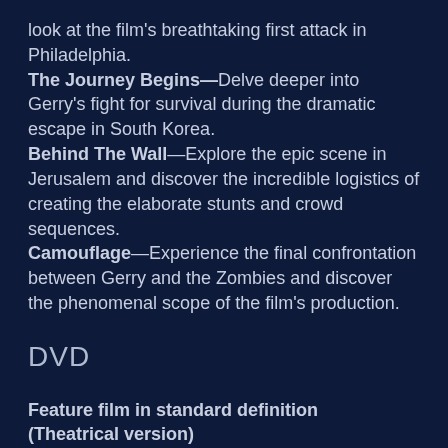look at the film's breathtaking first attack in Philadelphia. The Journey Begins—Delve deeper into Gerry's fight for survival during the dramatic escape in South Korea. Behind The Wall—Explore the epic scene in Jerusalem and discover the incredible logistics of creating the elaborate stunts and crowd sequences. Camouflage—Experience the final confrontation between Gerry and the Zombies and discover the phenomenal scope of the film's production.
DVD
Feature film in standard definition (Theatrical version)